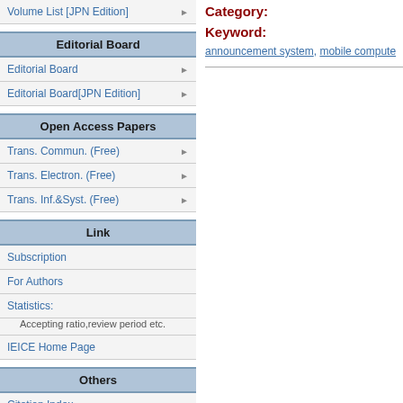Volume List [JPN Edition]
Editorial Board
Editorial Board
Editorial Board[JPN Edition]
Open Access Papers
Trans. Commun. (Free)
Trans. Electron. (Free)
Trans. Inf.&Syst. (Free)
Link
Subscription
For Authors
Statistics:
Accepting ratio,review period etc.
IEICE Home Page
Others
Citation Index
Category:
Keyword:
announcement system, mobile compute